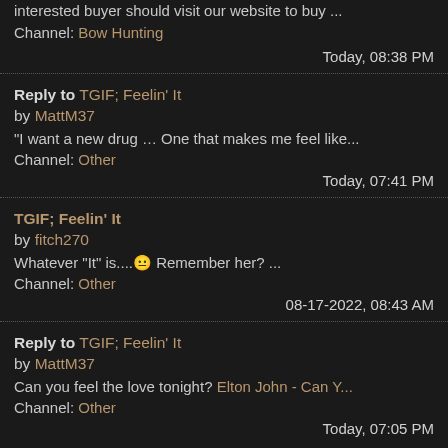interested buyer should visit our website to buy ...
Channel: Bow Hunting
Today, 08:38 PM
Reply to TGIF; Feelin' It
by MattM37
"I want a new drug … One that makes me feel like...
Channel: Other
Today, 07:41 PM
TGIF; Feelin' It
by fitch270
Whatever "It" is....😐 Remember her? ...
Channel: Other
08-17-2022, 08:43 AM
Reply to TGIF; Feelin' It
by MattM37
Can you feel the love tonight? Elton John - Can Y...
Channel: Other
Today, 07:05 PM